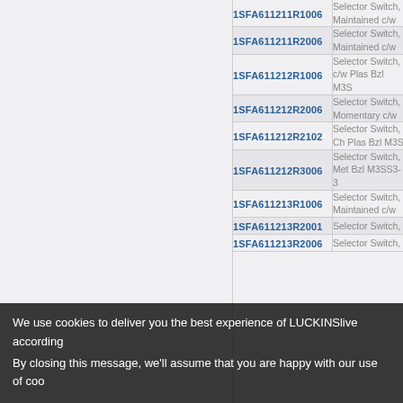| Product Code | Description |
| --- | --- |
| 1SFA611211R1006 | Selector Switch, Maintained c/w |
| 1SFA611211R2006 | Selector Switch, Maintained c/w |
| 1SFA611212R1006 | Selector Switch, c/w Plas Bzl M3S |
| 1SFA611212R2006 | Selector Switch, Momentary c/w |
| 1SFA611212R2102 | Selector Switch, Ch Plas Bzl M3S |
| 1SFA611212R3006 | Selector Switch, Met Bzl M3SS3-3 |
| 1SFA611213R1006 | Selector Switch, Maintained c/w |
| 1SFA611213R2001 | Selector Switch, |
| 1SFA611213R2006 | Selector Switch, |
We use cookies to deliver you the best experience of LUCKINSlive according to our cookie policy. By closing this message, we'll assume that you are happy with our use of cookies.